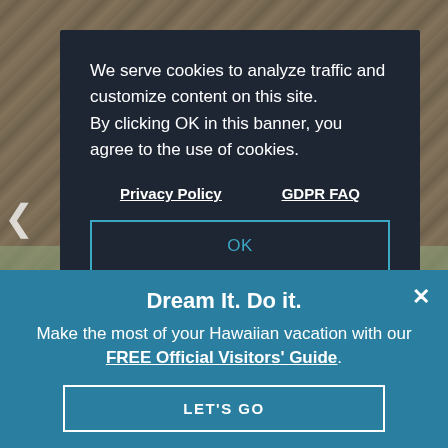[Figure (photo): Background photo showing wooden/wicker architectural structure (possibly a thatched hut or pergola) with tropical outdoor scene below]
We serve cookies to analyze traffic and customize content on this site. By clicking OK in this banner, you agree to the use of cookies.
Privacy Policy    GDPR FAQ
OK
Dream It. Do it.
Make the most of your Hawaiian vacation with our FREE Official Visitors' Guide.
LET'S GO